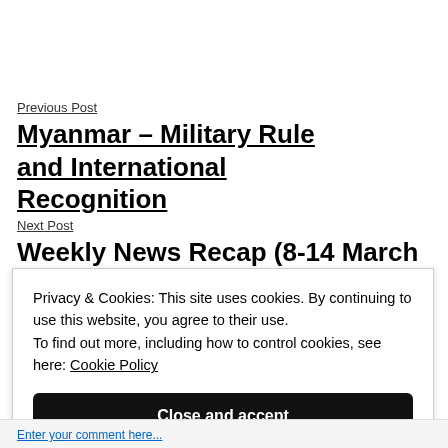Previous Post
Myanmar – Military Rule and International Recognition
Next Post
Weekly News Recap (8-14 March 2021)
Privacy & Cookies: This site uses cookies. By continuing to use this website, you agree to their use.
To find out more, including how to control cookies, see here: Cookie Policy
Close and accept
Enter your comment here...